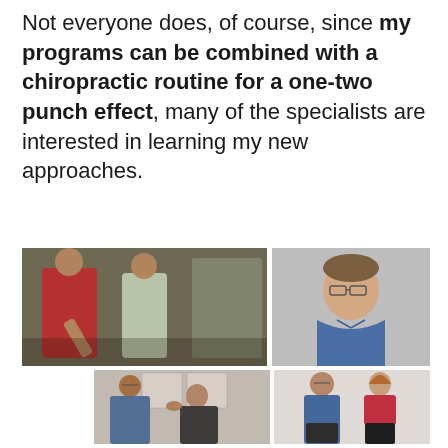Not everyone does, of course, since my programs can be combined with a chiropractic routine for a one-two punch effect, many of the specialists are interested in learning my new approaches.
[Figure (photo): A collage of four photos showing fitness training and chiropractic/physical therapy sessions: top-left shows a man in a red shirt doing a leg raise in a gym with a trainer; top-right shows a middle-aged man in a blue polo shirt (headshot); bottom-left shows a practitioner examining a patient's shoulder; bottom-right shows a man in blue polo and shorts demonstrating posture with a woman in red athletic top against a white wall.]